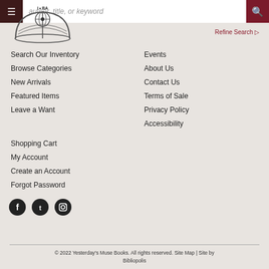[Figure (logo): IOBA bookstore logo with open book]
Search Our Inventory
Browse Categories
New Arrivals
Featured Items
Leave a Want
Events
About Us
Contact Us
Terms of Sale
Privacy Policy
Accessibility
Shopping Cart
My Account
Create an Account
Forgot Password
[Figure (illustration): Social media icons: Facebook, Twitter, Instagram]
© 2022 Yesterday's Muse Books. All rights reserved. Site Map | Site by Bibliopolis